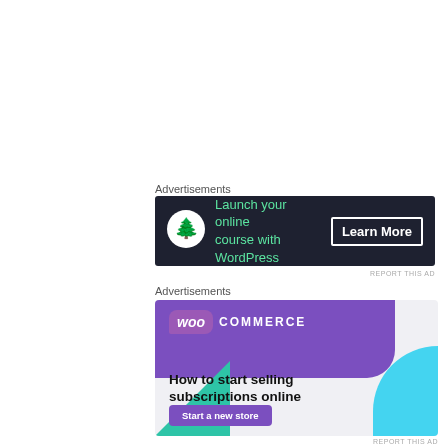Advertisements
[Figure (infographic): Dark banner ad for online course with WordPress. Green text: Launch your online course with WordPress. White outlined button: Learn More. Bonsai tree icon on left.]
REPORT THIS AD
Advertisements
[Figure (infographic): WooCommerce ad with purple background at top, teal and cyan decorative shapes. Large text: How to start selling subscriptions online. Purple button: Start a new store.]
REPORT THIS AD